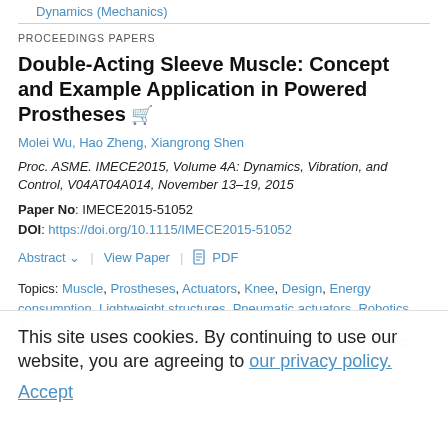Dynamics (Mechanics)
PROCEEDINGS PAPERS
Double-Acting Sleeve Muscle: Concept and Example Application in Powered Prostheses
Molei Wu, Hao Zheng, Xiangrong Shen
Proc. ASME. IMECE2015, Volume 4A: Dynamics, Vibration, and Control, V04AT04A014, November 13–19, 2015
Paper No: IMECE2015-51052
DOI: https://doi.org/10.1115/IMECE2015-51052
Abstract ∨   View Paper   PDF
Topics: Muscle, Prostheses, Actuators, Knee, Design, Energy consumption, Lightweight structures, Pneumatic actuators, Robotics, Stairs
This site uses cookies. By continuing to use our website, you are agreeing to our privacy policy. Accept